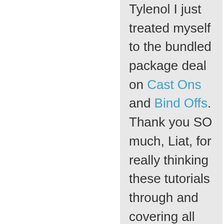Tylenol I just treated myself to the bundled package deal on Cast Ons and Bind Offs. Thank you SO much, Liat, for really thinking these tutorials through and covering all the bases so meticulously.

Truly, the cast on and the bind off...